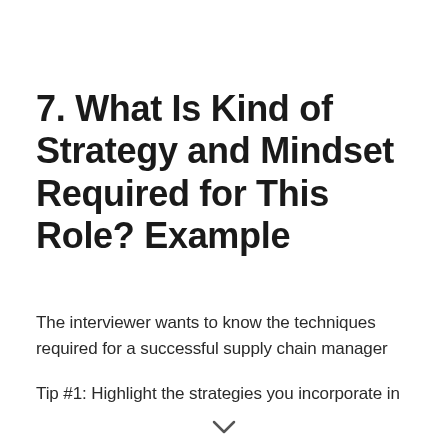7. What Is Kind of Strategy and Mindset Required for This Role? Example
The interviewer wants to know the techniques required for a successful supply chain manager
Tip #1: Highlight the strategies you incorporate in